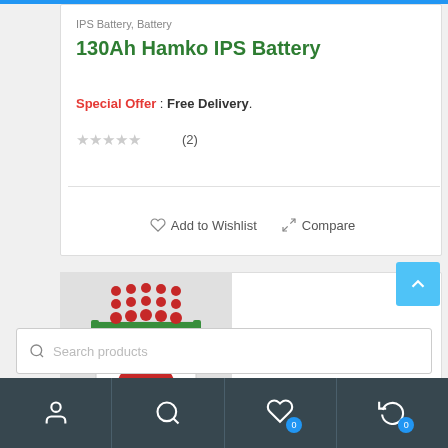IPS Battery, Battery
130Ah Hamko IPS Battery
Special Offer : Free Delivery.
☆☆☆☆☆ (2)
Add to Wishlist   Compare
[Figure (photo): Hamko IPS battery product photo - white tall battery with green accents and red caps on top]
Search products
User icon | Search icon | Wishlist (0) | Compare (0)